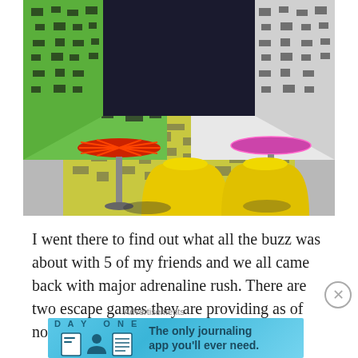[Figure (photo): Interior photo of an escape room with colorful walls featuring geometric black and green pixel patterns, a black patterned tile floor, two large yellow bucket-shaped stools in the center, a red metal bar stool on the left, and a pink/magenta bar stool on the right.]
I went there to find out what all the buzz was about with 5 of my friends and we all came back with major adrenaline rush. There are two escape games they are providing as of now- Magic Show-A Treasure
Advertisements
[Figure (screenshot): Advertisement banner for DAY ONE journaling app with blue gradient background, app icon illustrations, and text reading 'The only journaling app you'll ever need.']